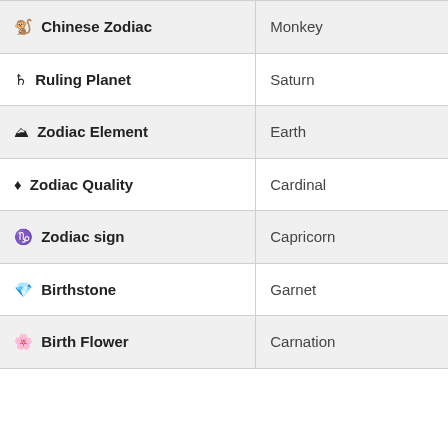| Property | Value |
| --- | --- |
| 🐒 Chinese Zodiac | Monkey |
| ♄ Ruling Planet | Saturn |
| ⛰ Zodiac Element | Earth |
| ♦ Zodiac Quality | Cardinal |
| ♑ Zodiac sign | Capricorn |
| 💎 Birthstone | Garnet |
| 🌸 Birth Flower | Carnation |